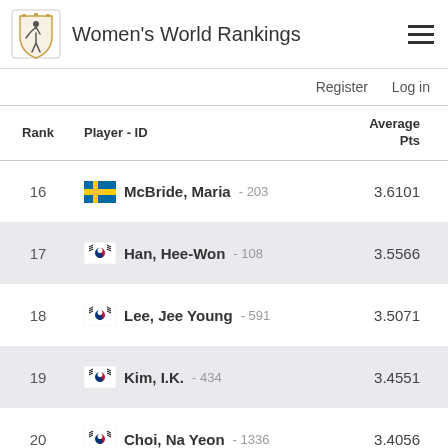Women's World Rankings
Register   Log in
| Rank | Player - ID | Average Pts |
| --- | --- | --- |
| 16 | McBride, Maria - 203 | 3.6101 |
| 17 | Han, Hee-Won - 108 | 3.5566 |
| 18 | Lee, Jee Young - 591 | 3.5071 |
| 19 | Kim, I.K. - 434 | 3.4551 |
| 20 | Choi, Na Yeon - 1336 | 3.4056 |
| 21 | Ueda, Momoko - 1836 | 3.2557 |